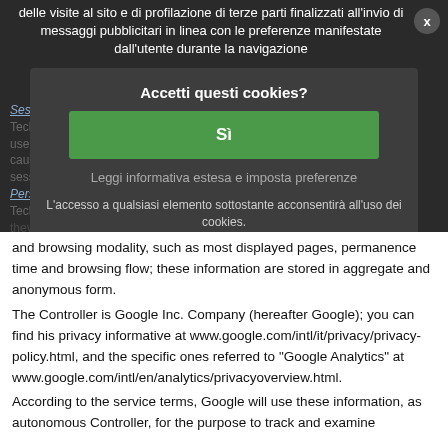delle visite al sito e di profilazione di terze parti finalizzati all'invio di messaggi pubblicitari in linea con le preferenze manifestate dall'utente durante la navigazione
Accetti questi cookies?
Sì
Leggi informativa estesa e imposta preferenze
L'accesso a qualsiasi elemento sottostante acconsentirà all'uso dei cookies.
Session Cookies
Technical cookies to preserve session (authentication, user state in a complex procedure); disabling these cookies may cause services malfunction for the user session duration.
Persistent Cookies
Technical storing session information (username or preferences); they are stored for a maximum of 1 year from last visit.
"Google Analytics" statistical persistent Cookies
Third parties Cookies used to collect information on users number and browsing modality, such as most displayed pages, permanence time and browsing flow; these information are stored in aggregate and anonymous form.
The Controller is Google Inc. Company (hereafter Google); you can find his privacy informative at www.google.com/intl/it/privacy/privacy-policy.html, and the specific ones referred to "Google Analytics" at www.google.com/intl/en/analytics/privacyoverview.html.
According to the service terms, Google will use these information, as autonomous Controller, for the purpose to track and examine